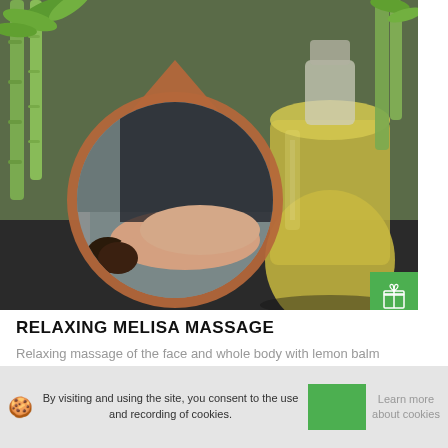[Figure (photo): Hero image showing a spa/massage scene: bamboo stems and leaves in background on left, a large glass bottle of yellow essential oil on right, and a circular cropped photo of a woman receiving a back massage overlaid on the center-left with a terracotta/orange circular border.]
RELAXING MELISA MASSAGE
Relaxing massage of the face and whole body with lemon balm essential oils.
By visiting and using the site, you consent to the use and recording of cookies.
Learn more about cookies